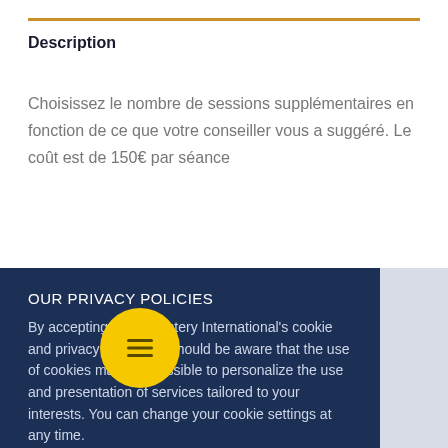Description
Choisissez le nombre de sessions supplémentaires en fonction de ce que votre conseiller vous a suggéré. Le coût est de 150€ par séance
OUR PRIVACY POLICIES
By accepting Inner Mastery International's cookie and privacy policy you should be aware that the use of cookies makes it possible to personalize the use and presentation of services tailored to your interests. You can change your cookie settings at any time.